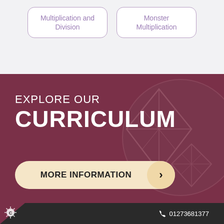Multiplication and Division
Monster Multiplication
EXPLORE OUR CURRICULUM
MORE INFORMATION
01273681377